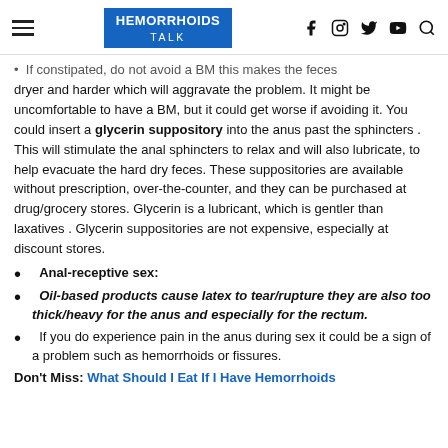HEMORRHOIDS TALK
If constipated, do not avoid a BM this makes the feces dryer and harder which will aggravate the problem. It might be uncomfortable to have a BM, but it could get worse if avoiding it. You could insert a glycerin suppository into the anus past the sphincters . This will stimulate the anal sphincters to relax and will also lubricate, to help evacuate the hard dry feces. These suppositories are available without prescription, over-the-counter, and they can be purchased at drug/grocery stores. Glycerin is a lubricant, which is gentler than laxatives . Glycerin suppositories are not expensive, especially at discount stores.
Anal-receptive sex:
Oil-based products cause latex to tear/rupture they are also too thick/heavy for the anus and especially for the rectum.
If you do experience pain in the anus during sex it could be a sign of a problem such as hemorrhoids or fissures.
Don't Miss: What Should I Eat If I Have Hemorrhoids